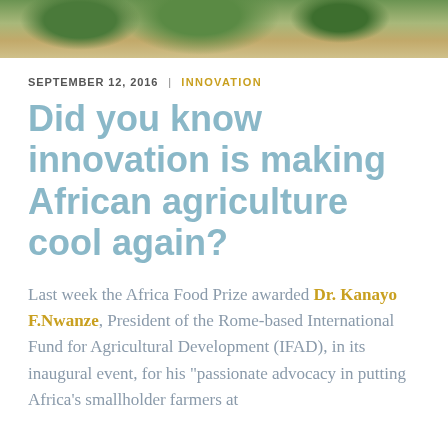[Figure (photo): Top strip of a photograph showing an outdoor agricultural scene with trees and dry ground, partially cropped.]
SEPTEMBER 12, 2016  |  INNOVATION
Did you know innovation is making African agriculture cool again?
Last week the Africa Food Prize awarded Dr. Kanayo F.Nwanze, President of the Rome-based International Fund for Agricultural Development (IFAD), in its inaugural event, for his "passionate advocacy in putting Africa's smallholder farmers at